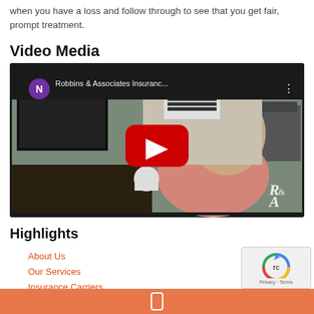when you have a loss and follow through to see that you get fair, prompt treatment.
Video Media
[Figure (screenshot): YouTube video thumbnail showing a man in a pink shirt seated at a desk. Video title bar reads 'Robbins & Associates Insuranc...' with a purple 'N' channel icon. A large red YouTube play button is overlaid in the center. The Robbins & Associates logo 'R&A' appears in the lower right corner.]
Highlights
About Us
Our Services
Insurance Carriers
Contact Us